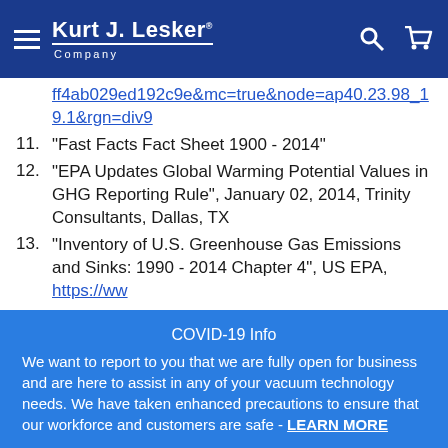Kurt J. Lesker Company
ff4ab029ed192c9e&mc=true&node=ap40.23.98_19.1&rgn=div9
11. "Fast Facts Fact Sheet 1900 - 2014"
12. "EPA Updates Global Warming Potential Values in GHG Reporting Rule", January 02, 2014, Trinity Consultants, Dallas, TX
13. "Inventory of U.S. Greenhouse Gas Emissions and Sinks: 1990 - 2014 Chapter 4", US EPA, https://ww
COVID-19 Info
We want to report to you that we are fully open for business and are here to assist in any of your vacuum technology needs. We have taken enhanced precautions to ensure that our workforce and customers are safe - LEARN MORE
Dismiss
warming Earth ( thickening the blanket ) than others. The